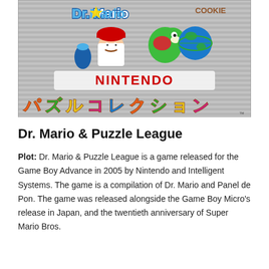[Figure (illustration): Cover art for Nintendo Puzzle Collection / Dr. Mario & Puzzle League game. Shows Dr. Mario and Yoshi characters on a striped silver/grey background with colorful Japanese text reading 'Nintendo Puzzle Collection' and Cookie written in the upper right.]
Dr. Mario & Puzzle League
Plot: Dr. Mario & Puzzle League is a game released for the Game Boy Advance in 2005 by Nintendo and Intelligent Systems. The game is a compilation of Dr. Mario and Panel de Pon. The game was released alongside the Game Boy Micro's release in Japan, and the twentieth anniversary of Super Mario Bros.